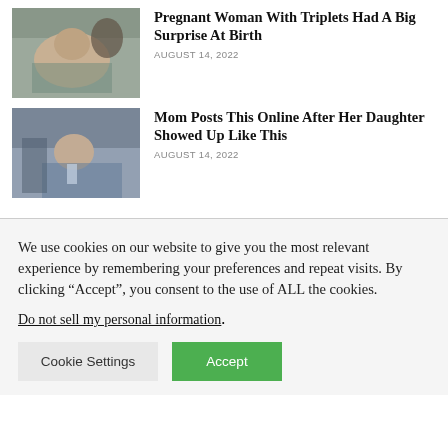[Figure (photo): Photo of a pregnant woman in hospital bed with others nearby]
Pregnant Woman With Triplets Had A Big Surprise At Birth
AUGUST 14, 2022
[Figure (photo): Photo of a young girl lying in hospital bed with medical tubes]
Mom Posts This Online After Her Daughter Showed Up Like This
AUGUST 14, 2022
We use cookies on our website to give you the most relevant experience by remembering your preferences and repeat visits. By clicking “Accept”, you consent to the use of ALL the cookies.
Do not sell my personal information.
Cookie Settings
Accept